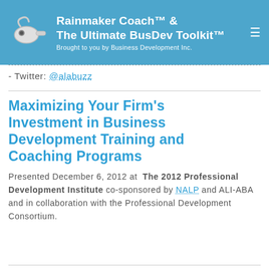Rainmaker Coach™ & The Ultimate BusDev Toolkit™ — Brought to you by Business Development Inc.
- Twitter: @alabuzz
Maximizing Your Firm's Investment in Business Development Training and Coaching Programs
Presented December 6, 2012 at The 2012 Professional Development Institute co-sponsored by NALP and ALI-ABA and in collaboration with the Professional Development Consortium.